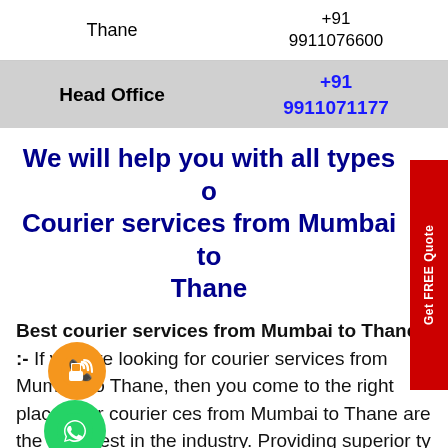| Location | Phone |
| --- | --- |
| Thane | +91 9911076600 |
| Head Office | +91 9911071177 |
We will help you with all types of Courier services from Mumbai to Thane
Best courier services from Mumbai to Thane :- If you are looking for courier services from Mumbai to Thane, then you come to the right place! Our courier services from Mumbai to Thane are the cheapest in the industry. Providing superior Quality Courier Service is one of the numerous services we offer to meet the various demands of our esteemed clients. We ensure that the transportation from